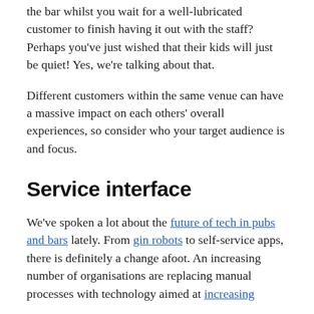the bar whilst you wait for a well-lubricated customer to finish having it out with the staff? Perhaps you've just wished that their kids will just be quiet! Yes, we're talking about that.
Different customers within the same venue can have a massive impact on each others' overall experiences, so consider who your target audience is and focus.
Service interface
We've spoken a lot about the future of tech in pubs and bars lately. From gin robots to self-service apps, there is definitely a change afoot. An increasing number of organisations are replacing manual processes with technology aimed at increasing